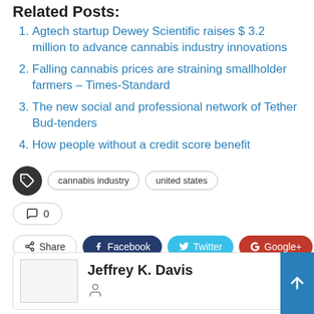Related Posts:
Agtech startup Dewey Scientific raises $ 3.2 million to advance cannabis industry innovations
Falling cannabis prices are straining smallholder farmers – Times-Standard
The new social and professional network of Tether Bud-tenders
How people without a credit score benefit
cannabis industry   united states
0
Share   Facebook   Twitter   Google+   +
Jeffrey K. Davis